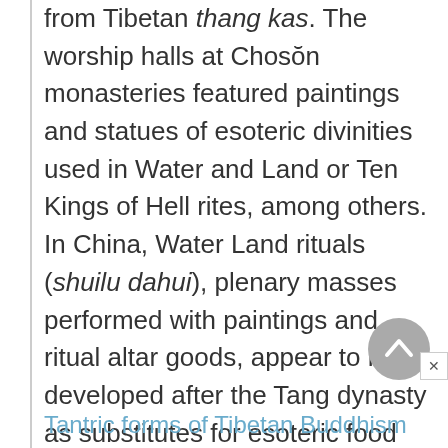from Tibetan thang kas. The worship halls at Chosŏn monasteries featured paintings and statues of esoteric divinities used in Water and Land or Ten Kings of Hell rites, among others. In China, Water Land rituals (shuilu dahui), plenary masses performed with paintings and ritual altar goods, appear to have developed after the Tang dynasty as substitutes for esoteric food distribution rites (shishi).
Tantric forms of Tibetan Buddhism